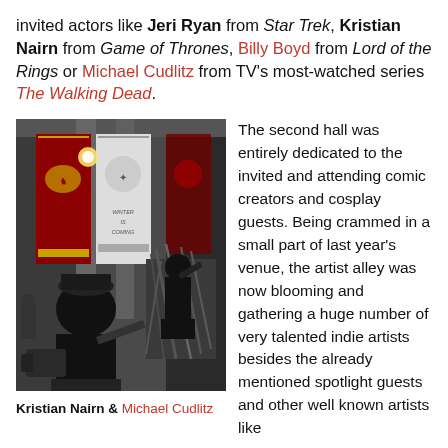invited actors like Jeri Ryan from Star Trek, Kristian Nairn from Game of Thrones, Billy Boyd from Lord of the Rings or Michael Cudlitz from TV's most-watched series The Walking Dead.
[Figure (photo): Photo of Kristian Nairn and Michael Cudlitz at a convention booth with Game of Thrones banners including a Lannister lion banner and 'Winter is Coming' Stark banner. One person sits in an Iron Throne replica while another stands nearby with a camera.]
Kristian Nairn & Michael Cudlitz
The second hall was entirely dedicated to the invited and attending comic creators and cosplay guests. Being crammed in a small part of last year's venue, the artist alley was now blooming and gathering a huge number of very talented indie artists besides the already mentioned spotlight guests and other well known artists like